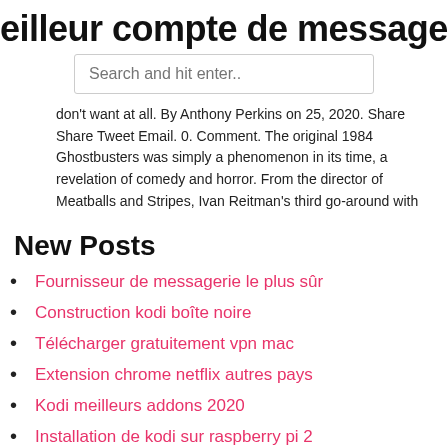eilleur compte de messagerie à utilis
[Figure (screenshot): Search bar with placeholder text 'Search and hit enter..']
don't want at all. By Anthony Perkins on 25, 2020. Share Share Tweet Email. 0. Comment. The original 1984 Ghostbusters was simply a phenomenon in its time, a revelation of comedy and horror. From the director of Meatballs and Stripes, Ivan Reitman's third go-around with
New Posts
Fournisseur de messagerie le plus sûr
Construction kodi boîte noire
Télécharger gratuitement vpn mac
Extension chrome netflix autres pays
Kodi meilleurs addons 2020
Installation de kodi sur raspberry pi 2